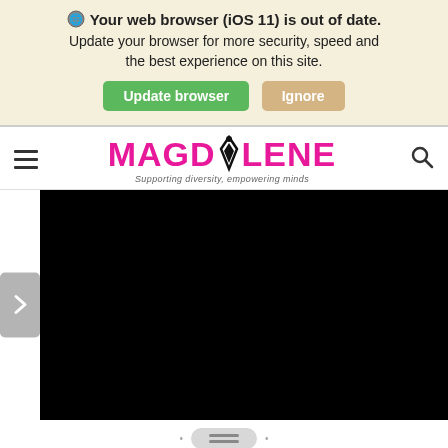Your web browser (iOS 11) is out of date. Update your browser for more security, speed and the best experience on this site.
Update browser | Ignore
[Figure (screenshot): MAGDOLENE website navigation bar with hamburger menu, pink logo with pen nib icon, tagline 'Supporting diversity, empowering minds', and search icon]
[Figure (screenshot): Website slider area with grey navigation arrow on left and large black image/video area on right, with slider controls at bottom]